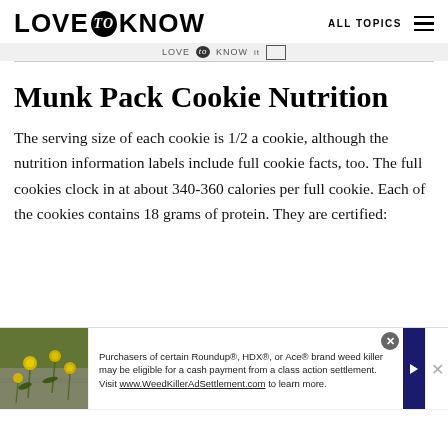LOVE to KNOW   ALL TOPICS
Munk Pack Cookie Nutrition
The serving size of each cookie is 1/2 a cookie, although the nutrition information labels include full cookie facts, too. The full cookies clock in at about 340-360 calories per full cookie. Each of the cookies contains 18 grams of protein. They are certified:
[Figure (screenshot): Advertisement banner: photo of yellow wildflowers on stone background on left; text reads 'Purchasers of certain Roundup®, HDX®, or Ace® brand weed killer may be eligible for a cash payment from a class action settlement. Visit www.WeedKillerAdSettlement.com to learn more.' with close button and arrow icons.]